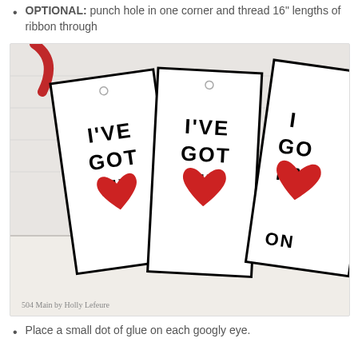OPTIONAL: punch hole in one corner and thread 16" lengths of ribbon through
[Figure (photo): Photo showing three white bookmark-style gift tags with black borders. Each tag reads 'I'VE GOT MY' in bold dotted marquee-style letters with a large red heart below. Tags are fanned out on a white surface. Watermark reads '504 Main by Holly Lefeure'.]
Place a small dot of glue on each googly eye.
[Figure (photo): Partial photo at bottom of page showing crafting materials with red and white elements.]